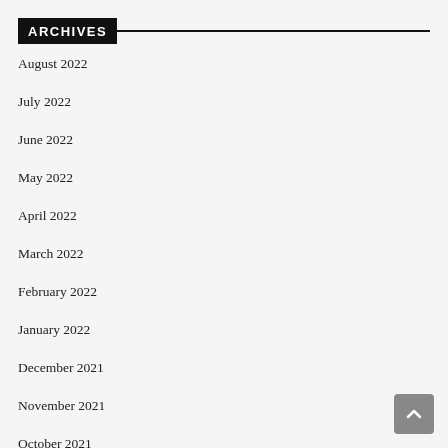ARCHIVES
August 2022
July 2022
June 2022
May 2022
April 2022
March 2022
February 2022
January 2022
December 2021
November 2021
October 2021